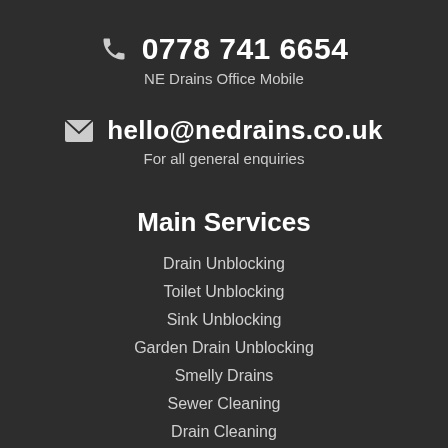0778 741 6654
NE Drains Office Mobile
hello@nedrains.co.uk
For all general enquiries
Main Services
Drain Unblocking
Toilet Unblocking
Sink Unblocking
Garden Drain Unblocking
Smelly Drains
Sewer Cleaning
Drain Cleaning
CCTV Drain Inspection